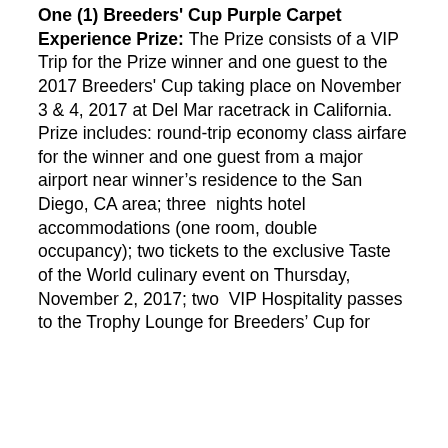One (1) Breeders' Cup Purple Carpet Experience Prize:
The Prize consists of a VIP Trip for the Prize winner and one guest to the 2017 Breeders' Cup taking place on November 3 & 4, 2017 at Del Mar racetrack in California. Prize includes: round-trip economy class airfare for the winner and one guest from a major airport near winner's residence to the San Diego, CA area; three  nights hotel accommodations (one room, double occupancy); two tickets to the exclusive Taste of the World culinary event on Thursday, November 2, 2017; two  VIP Hospitality passes to the Trophy Lounge for Breeders' Cup for